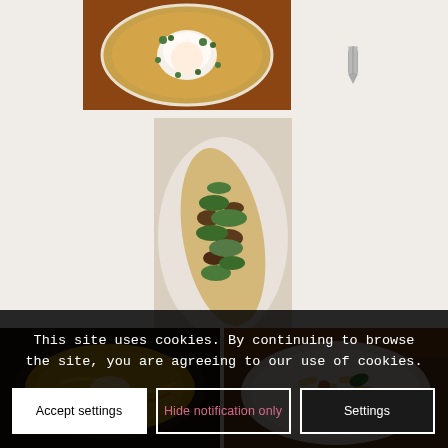[Figure (photo): Overhead view of a bowl of soup with a poached egg in the center, garnished with fresh herbs and spices, on a wooden table.]
[Figure (other): Pencil/edit icon, gray, located to the right of the soup image.]
[Figure (photo): Overhead view of a flatbread topped with mushrooms, herbs, and greens on a white plate.]
[Figure (other): Pencil/edit icon, gray, located to the right of the flatbread image.]
[Figure (photo): Bowl of yellow omelet or scrambled eggs in a dark bowl.]
[Figure (photo): Bowl of penne pasta with tomato sauce and basil leaf, on a wooden table.]
This site uses cookies. By continuing to browse the site, you are agreeing to our use of cookies.
Accept settings
Hide notification only
Settings